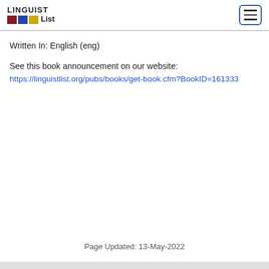LINGUIST List
Written In: English (eng)
See this book announcement on our website:
https://linguistlist.org/pubs/books/get-book.cfm?BookID=161333
Page Updated: 13-May-2022